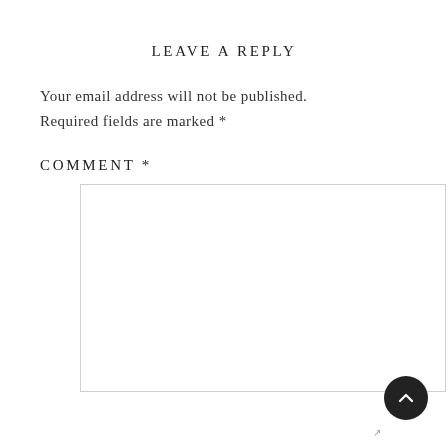LEAVE A REPLY
Your email address will not be published. Required fields are marked *
COMMENT *
[Figure (other): Empty comment textarea input box with light border]
[Figure (other): Back to top button: dark circular button with upward chevron arrow]